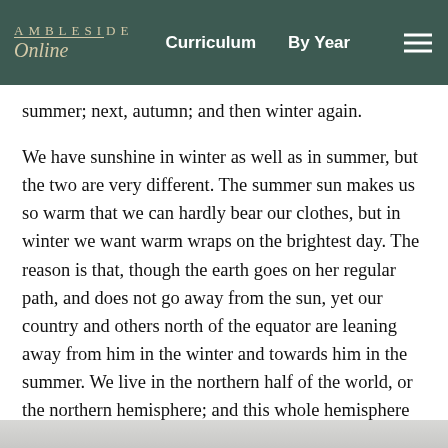AMBLESIDE Online — Curriculum   By Year
summer; next, autumn; and then winter again.
We have sunshine in winter as well as in summer, but the two are very different. The summer sun makes us so warm that we can hardly bear our clothes, but in winter we want warm wraps on the brightest day. The reason is that, though the earth goes on her regular path, and does not go away from the sun, yet our country and others north of the equator are leaning away from him in the winter and towards him in the summer. We live in the northern half of the world, or the northern hemisphere; and this whole hemisphere gets far less sunshine in our winter than in our summer.